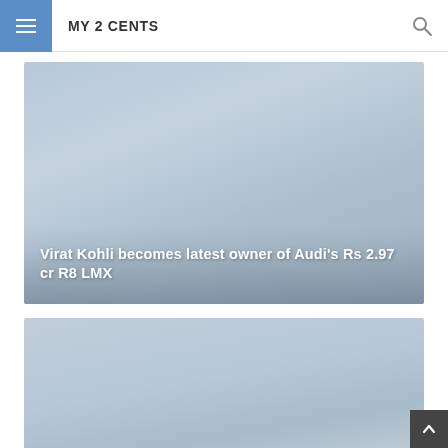MY 2 CENTS
[Figure (photo): Gray-blue gradient placeholder image card with overlaid white bold text reading 'Virat Kohli becomes latest owner of Audi's Rs 2.97 cr R8 LMX']
Virat Kohli becomes latest owner of Audi’s Rs 2.97 cr R8 LMX
[Figure (photo): Gray-blue gradient placeholder image card, no visible text overlay]